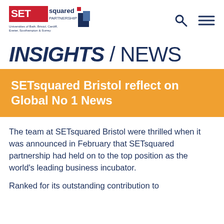[Figure (logo): SETsquared Partnership logo with tagline 'Universities of Bath, Bristol, Cardiff, Exeter, Southampton & Surrey']
INSIGHTS / NEWS
SETsquared Bristol reflect on Global No 1 News
The team at SETsquared Bristol were thrilled when it was announced in February that SETsquared partnership had held on to the top position as the world's leading business incubator.
Ranked for its outstanding contribution to